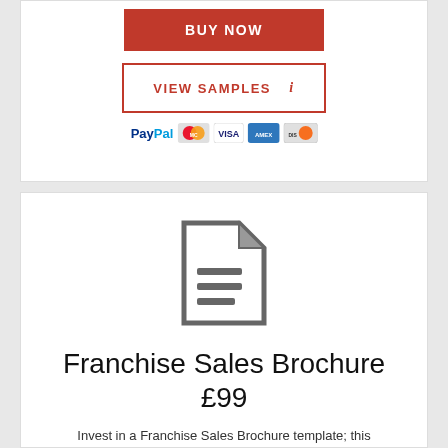[Figure (other): BUY NOW red button]
[Figure (other): VIEW SAMPLES button with red border and info icon]
[Figure (other): Payment icons: PayPal, MasterCard, Visa, American Express, Discover]
[Figure (other): Document/file icon in grey]
Franchise Sales Brochure £99
Invest in a Franchise Sales Brochure template; this template has been designed to give potential